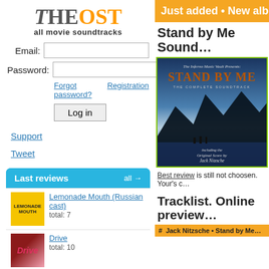TheOST all movie soundtracks
Email: [input] Password: [input]
Forgot password?   Registration
Log in
Support
Tweet
Last reviews  all →
Lemonade Mouth (Russian cast)
total: 7
Drive
total: 10
Brigada
total: 9
Fast Five
Just added • New albums
Stand by Me Sound…
[Figure (photo): Stand by Me complete soundtrack album cover showing mountain silhouettes at dusk with text 'The Inferno Music Vault Presents: STAND BY ME THE COMPLETE SOUNDTRACK including the Original Score by Jack Nitzsche']
Best review is still not choosen. Your's c…
Tracklist. Online preview…
# Jack Nitzsche • Stand by Me…